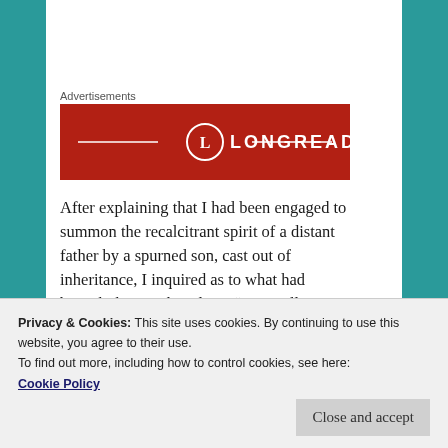Advertisements
[Figure (logo): Longreads advertisement banner — dark red background with a white circle containing the letter L, followed by LONGREADS in white bold uppercase letters, flanked by horizontal lines.]
After explaining that I had been engaged to summon the recalcitrant spirit of a distant father by a spurned son, cast out of inheritance, I inquired as to what had brought him to this place. “I am collecting the female of the mandrake root,” he said, with a gesture to his satchel.
Privacy & Cookies: This site uses cookies. By continuing to use this website, you agree to their use.
To find out more, including how to control cookies, see here: Cookie Policy
Close and accept